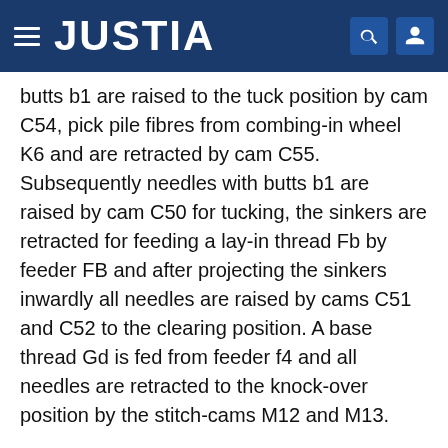JUSTIA
butts b1 are raised to the tuck position by cam C54, pick pile fibres from combing-in wheel K6 and are retracted by cam C55. Subsequently needles with butts b1 are raised by cam C50 for tucking, the sinkers are retracted for feeding a lay-in thread Fb by feeder FB and after projecting the sinkers inwardly all needles are raised by cams C51 and C52 to the clearing position. A base thread Gd is fed from feeder f4 and all needles are retracted to the knock-over position by the stitch-cams M12 and M13.
A fabric according to the above described method is shown in FIG. 18. Base threads G11, G21, G31 and G41 are formed to courses incorporating lay-in threads F1, F2, F3 and F4 and integrated by the welts with the pile fibres S cooperating with the sinker-loops formed from the base threads.